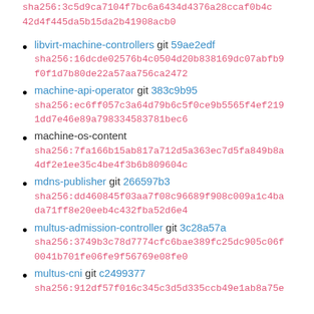sha256:3c5d9ca7104f7bc6a6434d4376a28ccaf0b4c42d4f445da5b15da2b41908acb0
libvirt-machine-controllers git 59ae2edf
sha256:16dcde02576b4c0504d20b838169dc07abfb9f0f1d7b80de22a57aa756ca2472
machine-api-operator git 383c9b95
sha256:ec6ff057c3a64d79b6c5f0ce9b5565f4ef2191dd7e46e89a798334583781bec6
machine-os-content
sha256:7fa166b15ab817a712d5a363ec7d5fa849b8a4df2e1ee35c4be4f3b6b809604c
mdns-publisher git 266597b3
sha256:dd460845f03aa7f08c96689f908c009a1c4bada71ff8e20eeb4c432fba52d6e4
multus-admission-controller git 3c28a57a
sha256:3749b3c78d7774cfc6bae389fc25dc905c06f0041b701fe06fe9f56769e08fe0
multus-cni git c2499377
sha256:912df57f016c345c3d5d335ccb49e1ab8a75e